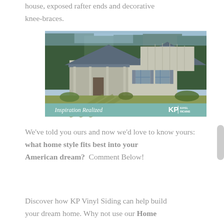house, exposed rafter ends and decorative knee-braces.
[Figure (photo): Exterior photo of a craftsman-style house with gray siding, covered front porch, and landscaped lawn. Bottom banner reads 'Inspiration Realized' with KP logo.]
We've told you ours and now we'd love to know yours: what home style fits best into your American dream?  Comment Below!
Discover how KP Vinyl Siding can help build your dream home. Why not use our Home